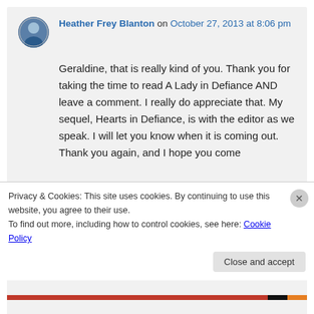Heather Frey Blanton on October 27, 2013 at 8:06 pm
Geraldine, that is really kind of you. Thank you for taking the time to read A Lady in Defiance AND leave a comment. I really do appreciate that. My sequel, Hearts in Defiance, is with the editor as we speak. I will let you know when it is coming out. Thank you again, and I hope you come
Privacy & Cookies: This site uses cookies. By continuing to use this website, you agree to their use.
To find out more, including how to control cookies, see here: Cookie Policy
Close and accept